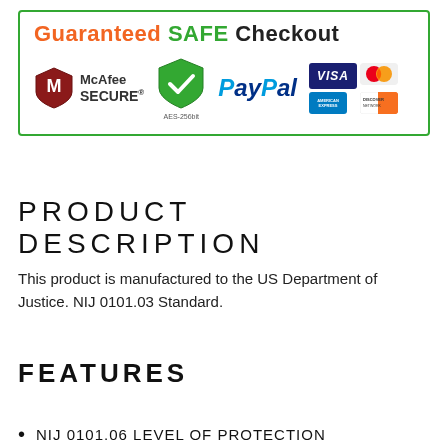[Figure (infographic): Guaranteed SAFE Checkout banner with McAfee SECURE badge, AES-256bit green shield checkmark, PayPal logo, and payment card logos (VISA, MasterCard, American Express, Discover)]
PRODUCT DESCRIPTION
This product is manufactured to the US Department of Justice. NIJ 0101.03 Standard.
FEATURES
NIJ 0101.06 LEVEL OF PROTECTION